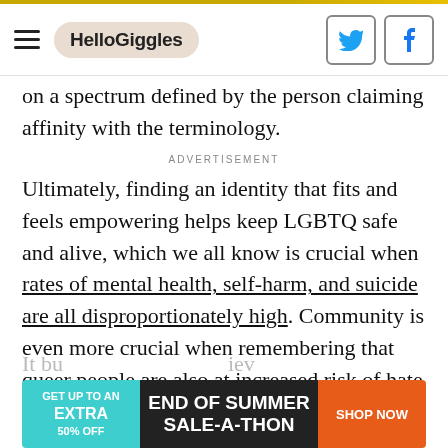HelloGiggles
on a spectrum defined by the person claiming affinity with the terminology.
ADVERTISEMENT
Ultimately, finding an identity that fits and feels empowering helps keep LGBTQ safe and alive, which we all know is crucial when rates of mental health, self-harm, and suicide are all disproportionately high. Community is even more crucial when remembering that queer people are also at increased risk of hate crime.
[Figure (screenshot): End of Summer Sale-A-Thon advertisement banner. Text: GET UP TO AN EXTRA 50% OFF | END OF SUMMER SALE-A-THON | SHOP NOW]